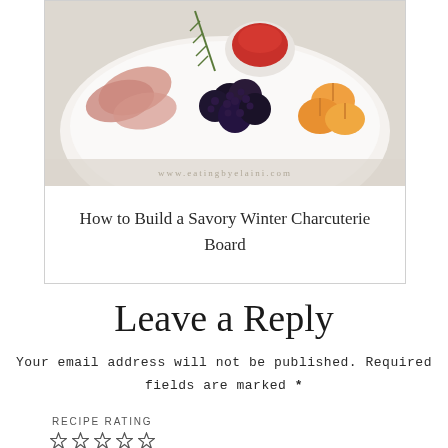[Figure (photo): Charcuterie board with blackberries, apricots, cured meats, rosemary, and a small bowl of red sauce on a white plate]
How to Build a Savory Winter Charcuterie Board
Leave a Reply
Your email address will not be published. Required fields are marked *
RECIPE RATING
[Figure (other): Five star rating icons (outline stars)]